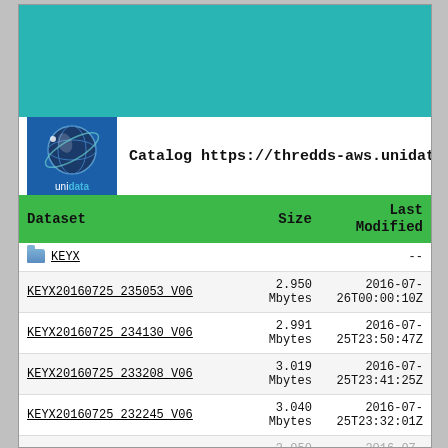[Figure (screenshot): Teal/cyan background header area of a THREDDS data catalog web page]
Catalog https://thredds-aws.unidata.u
| Dataset | Size | Last Modified |
| --- | --- | --- |
| KEYX |  | -- |
| KEYX20160725 235053 V06 | 2.950 Mbytes | 2016-07-26T00:00:10Z |
| KEYX20160725 234130 V06 | 2.991 Mbytes | 2016-07-25T23:50:47Z |
| KEYX20160725 233208 V06 | 3.019 Mbytes | 2016-07-25T23:41:25Z |
| KEYX20160725 232245 V06 | 3.040 Mbytes | 2016-07-25T23:32:01Z |